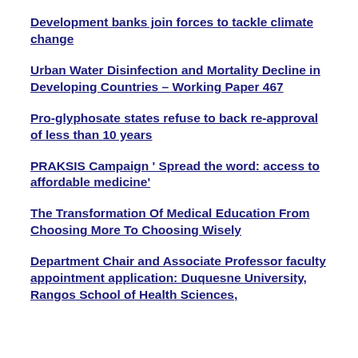Development banks join forces to tackle climate change
Urban Water Disinfection and Mortality Decline in Developing Countries – Working Paper 467
Pro-glyphosate states refuse to back re-approval of less than 10 years
PRAKSIS Campaign ' Spread the word: access to affordable medicine'
The Transformation Of Medical Education From Choosing More To Choosing Wisely
Department Chair and Associate Professor faculty appointment application: Duquesne University, Rangos School of Health Sciences, Health Management and ??? Department